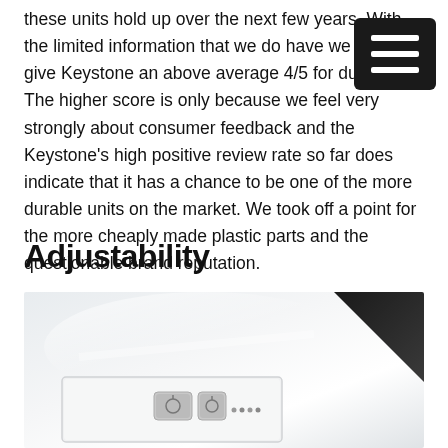these units hold up over the next few years. With the limited information that we do have we have to give Keystone an above average 4/5 for durability. The higher score is only because we feel very strongly about consumer feedback and the Keystone's high positive review rate so far does indicate that it has a chance to be one of the more durable units on the market. We took off a point for the more cheaply made plastic parts and the questionable brand reputation.
Adjustability
[Figure (photo): Close-up photo of a white bathroom scale showing buttons/controls on a glossy white surface, with a dark background in the upper right corner.]